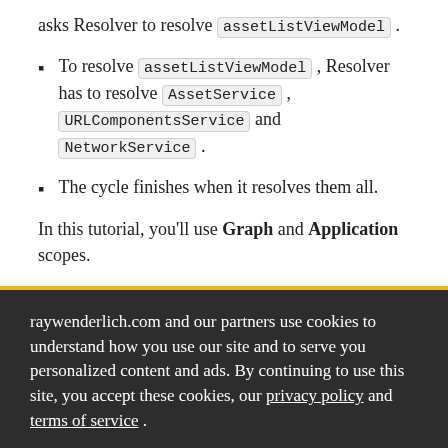asks Resolver to resolve assetListViewModel .
To resolve assetListViewModel , Resolver has to resolve AssetService , URLComponentsService and NetworkService .
The cycle finishes when it resolves them all.
In this tutorial, you'll use Graph and Application scopes.
raywenderlich.com and our partners use cookies to understand how you use our site and to serve you personalized content and ads. By continuing to use this site, you accept these cookies, our privacy policy and terms of service .
OK ✓   Manage privacy settings